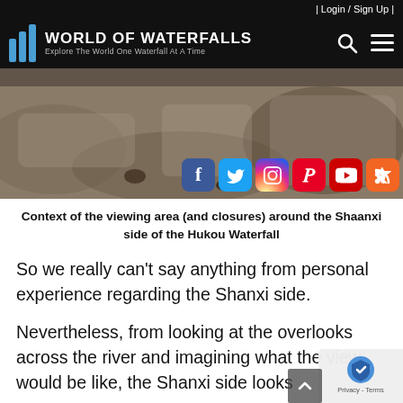| Login / Sign Up |
[Figure (logo): World of Waterfalls logo with blue vertical bars and text 'World of Waterfalls - Explore The World One Waterfall At A Time']
[Figure (photo): Hero image of rocky terrain (Hukou Waterfall area) with social media icons overlay: Facebook, Twitter, Instagram, Pinterest, YouTube, RSS]
Context of the viewing area (and closures) around the Shaanxi side of the Hukou Waterfall
So we really can't say anything from personal experience regarding the Shanxi side.
Nevertheless, from looking at the overlooks across the river and imagining what the view would be like, the Shanxi side looks